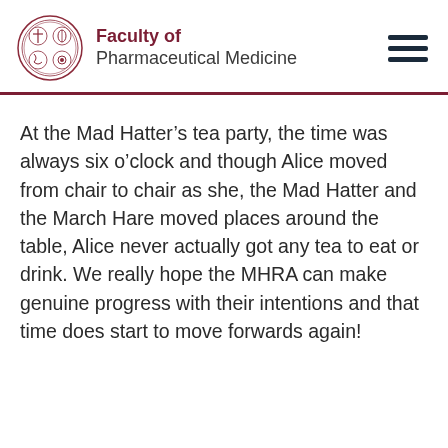Faculty of Pharmaceutical Medicine
At the Mad Hatter’s tea party, the time was always six o’clock and though Alice moved from chair to chair as she, the Mad Hatter and the March Hare moved places around the table, Alice never actually got any tea to eat or drink. We really hope the MHRA can make genuine progress with their intentions and that time does start to move forwards again!